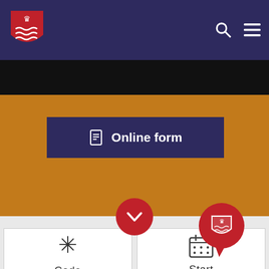[Figure (screenshot): Government website header with red crest shield logo on dark navy background, search icon and hamburger menu icon on right]
[Figure (screenshot): Orange banner area with dark navy 'Online form' button with document icon in center]
[Figure (screenshot): Red circular button with down chevron arrow, and red speech bubble with shield/crest logo on right]
[Figure (screenshot): Two white cards side by side: left card shows asterisk/snowflake icon with label 'Code', right card shows calendar icon with label 'Start']
We use Cookies
View our Privacy and Cookie policy
Accept